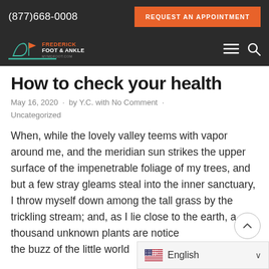(877)668-0008  REQUEST AN APPOINTMENT
[Figure (logo): Frederick Foot & Ankle logo with text and icon on dark background, plus hamburger menu and search icon]
How to check your health
May 16, 2020  ·  by Y.C. with No Comment  ·  Uncategorized
When, while the lovely valley teems with vapor around me, and the meridian sun strikes the upper surface of the impenetrable foliage of my trees, and but a few stray gleams steal into the inner sanctuary, I throw myself down among the tall grass by the trickling stream; and, as I lie close to the earth, a thousand unknown plants are noticed by me; when the buzz of the little world